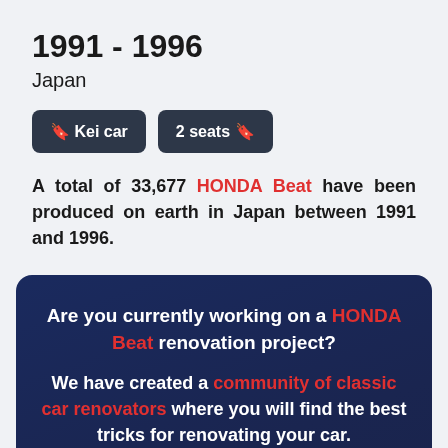1991 - 1996
Japan
🔖 Kei car
2 seats 🔖
A total of 33,677 HONDA Beat have been produced on earth in Japan between 1991 and 1996.
Are you currently working on a HONDA Beat renovation project? We have created a community of classic car renovators where you will find the best tricks for renovating your car.
🔖 Join the community 🔖